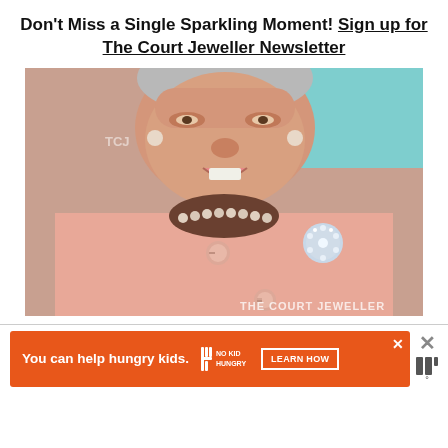Don't Miss a Single Sparkling Moment! Sign up for The Court Jeweller Newsletter
[Figure (photo): Close-up photo of an elderly woman wearing a pink coat, pearl necklace, and a diamond brooch, watermarked 'THE COURT JEWELLER']
[Figure (infographic): Advertisement banner: orange background with text 'You can help hungry kids.' and No Kid Hungry logo and LEARN HOW button]